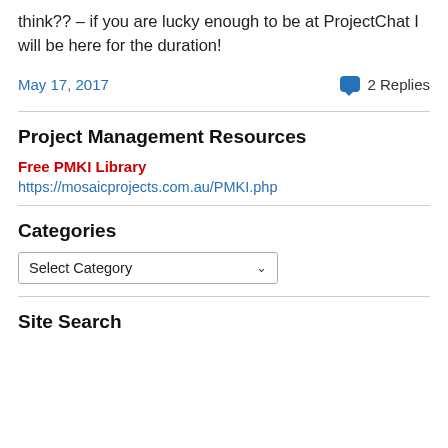think?? – if you are lucky enough to be at ProjectChat I will be here for the duration!
May 17, 2017   💬 2 Replies
Project Management Resources
Free PMKI Library
https://mosaicprojects.com.au/PMKI.php
Categories
Select Category
Site Search